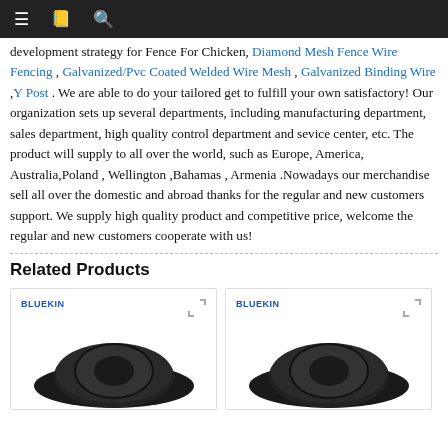≡  📋  🔍
development strategy for Fence For Chicken, Diamond Mesh Fence Wire Fencing , Galvanized/Pvc Coated Welded Wire Mesh , Galvanized Binding Wire ,Y Post . We are able to do your tailored get to fulfill your own satisfactory! Our organization sets up several departments, including manufacturing department, sales department, high quality control department and sevice center, etc. The product will supply to all over the world, such as Europe, America, Australia,Poland , Wellington ,Bahamas , Armenia .Nowadays our merchandise sell all over the domestic and abroad thanks for the regular and new customers support. We supply high quality product and competitive price, welcome the regular and new customers cooperate with us!
Related Products
[Figure (photo): Product card with BLUEKIN brand label and a black roll of wire mesh fencing]
[Figure (photo): Product card with BLUEKIN brand label and a black roll of wire mesh fencing]